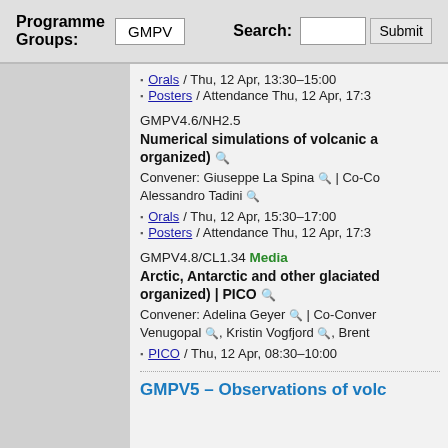Programme Groups: GMPV    Search:  Submit
Orals / Thu, 12 Apr, 13:30–15:00
Posters / Attendance Thu, 12 Apr, 17:3
GMPV4.6/NH2.5
Numerical simulations of volcanic a... organized)
Convener: Giuseppe La Spina | Co-Co... Alessandro Tadini
Orals / Thu, 12 Apr, 15:30–17:00
Posters / Attendance Thu, 12 Apr, 17:3
GMPV4.8/CL1.34 Media
Arctic, Antarctic and other glaciated... organized) | PICO
Convener: Adelina Geyer | Co-Convener: Venugopal, Kristin Vogfjord, Brent
PICO / Thu, 12 Apr, 08:30–10:00
GMPV5 – Observations of volc